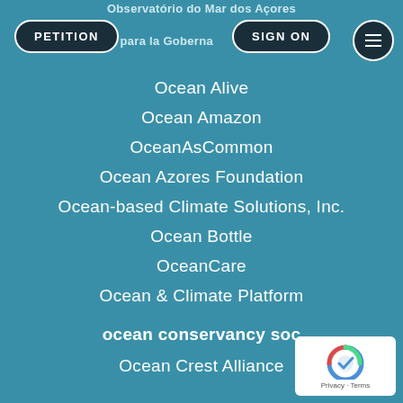Observatório do Mar dos Açores
torio para la Gobernanza Co
Ocean Alive
Ocean Amazon
OceanAsCommon
Ocean Azores Foundation
Ocean-based Climate Solutions, Inc.
Ocean Bottle
OceanCare
Ocean & Climate Platform
ocean conservancy soc
Ocean Crest Alliance
[Figure (logo): reCAPTCHA badge with Privacy and Terms text]